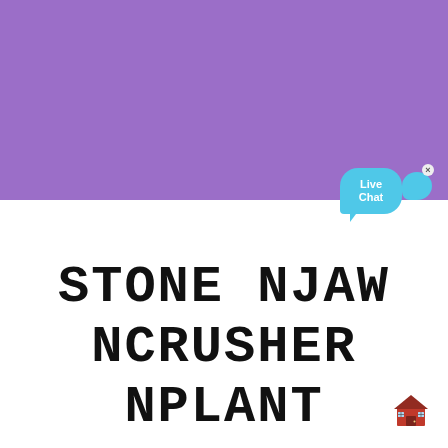[Figure (illustration): Purple/violet rectangular background block filling top ~45% of the page]
[Figure (illustration): Live Chat speech bubble widget in cyan/light blue with 'Live Chat' text, positioned at top right near the purple/white boundary, with a small close X button]
STONE NJAW NCRUSHER NPLANT
[Figure (illustration): Small red house/building emoji icon at bottom right corner]